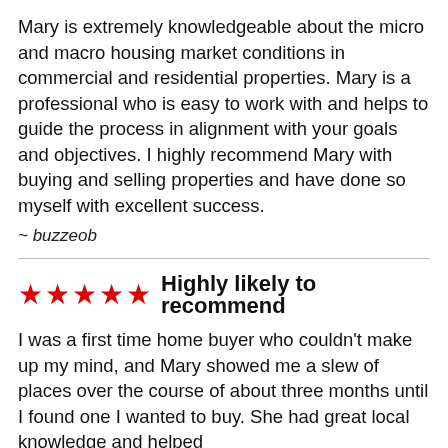Mary is extremely knowledgeable about the micro and macro housing market conditions in commercial and residential properties. Mary is a professional who is easy to work with and helps to guide the process in alignment with your goals and objectives. I highly recommend Mary with buying and selling properties and have done so myself with excellent success.
~ buzzeob
★★★★★ Highly likely to recommend
I was a first time home buyer who couldn't make up my mind, and Mary showed me a slew of places over the course of about three months until I found one I wanted to buy. She had great local knowledge and helped